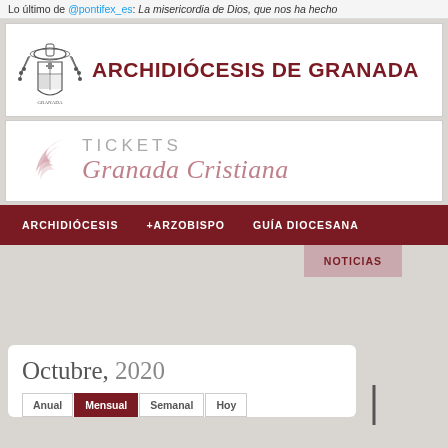Lo último de @pontifex_es: La misericordia de Dios, que nos ha hecho
ARCHIDIÓCESIS DE GRANADA
[Figure (logo): Archdiocese of Granada coat of arms logo]
[Figure (logo): Tickets Granada Cristiana logo with stylized wing graphic]
ARCHIDIÓCESIS   +ARZOBISPO   GUÍA DIOCESANA
NOTICIAS
Octubre, 2020
Anual   Mensual   Semanal   Hoy